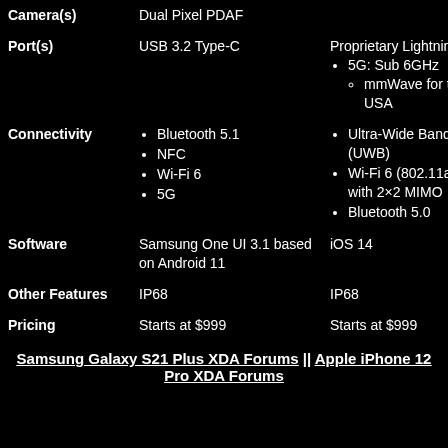| Feature | Samsung | Apple |
| --- | --- | --- |
| Camera(s) | Dual Pixel PDAF |  |
| Port(s) | USB 3.2 Type-C | Proprietary Lightning port |
| Connectivity | Bluetooth 5.1
NFC
Wi-Fi 6
5G | 5G: Sub 6GHz
  mmWave for the USA
Ultra-Wide Band (UWB)
Wi-Fi 6 (802.11ax) with 2×2 MIMO
Bluetooth 5.0 |
| Software | Samsung One UI 3.1 based on Android 11 | iOS 14 |
| Other Features | IP68 | IP68 |
| Pricing | Starts at $999 | Starts at $999 |
Samsung Galaxy S21 Plus XDA Forums || Apple iPhone 12 Pro XDA Forums